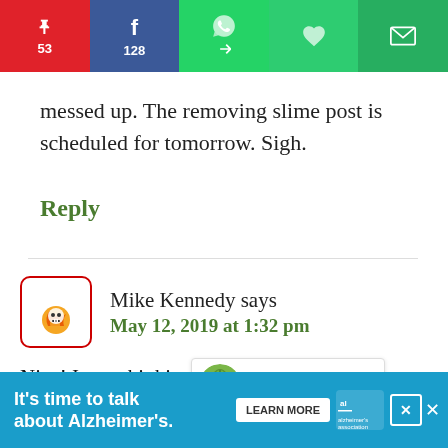[Figure (screenshot): Social share bar with Pinterest (53), Facebook (128), WhatsApp, heart, and email buttons]
messed up. The removing slime post is scheduled for tomorrow. Sigh.
Reply
[Figure (screenshot): Comment by Mike Kennedy showing avatar, name, date, like button (192), share button, and What's Next widget with How to Cook Nopales]
Nice! I was thinking of buying some of these to tr...
[Figure (infographic): Ad banner: It's time to talk about Alzheimer's. with Learn More button, Alzheimer's Association logo, and close buttons]